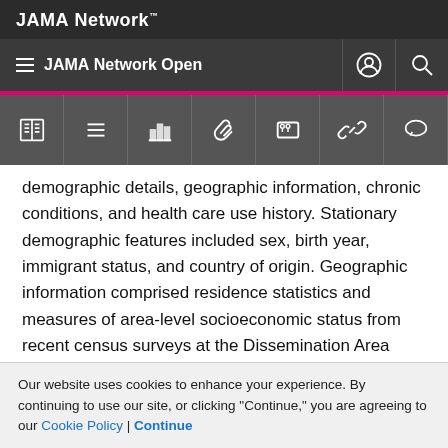JAMA Network
JAMA Network Open
demographic details, geographic information, chronic conditions, and health care use history. Stationary demographic features included sex, birth year, immigrant status, and country of origin. Geographic information comprised residence statistics and measures of area-level socioeconomic status from recent census surveys at the Dissemination Area (400-700 individuals) level. Race/ethnicity and material deprivation marginalization scores were built with the Ontario Marginalization Index
Our website uses cookies to enhance your experience. By continuing to use our site, or clicking "Continue," you are agreeing to our Cookie Policy | Continue